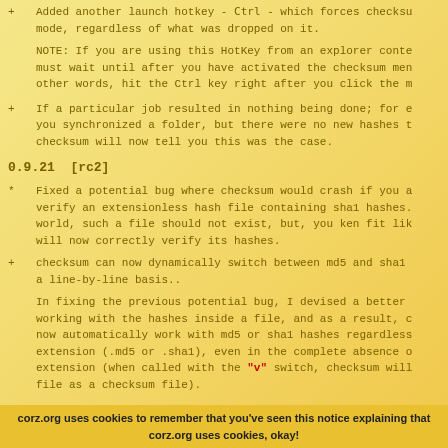+ Added another launch hotkey - Ctrl - which forces checksum mode, regardless of what was dropped on it.
NOTE: If you are using this HotKey from an explorer context menu, you must wait until after you have activated the checksum menu item. In other words, hit the Ctrl key right after you click the m
+ If a particular job resulted in nothing being done; for example, if you synchronized a folder, but there were no new hashes to add, checksum will now tell you this was the case.
0.9.21  [rc2]
* Fixed a potential bug where checksum would crash if you attempted to verify an extensionless hash file containing sha1 hashes. In a perfect world, such a file should not exist, but, you ken fit like, and checksum will now correctly verify its hashes.
+ checksum can now dynamically switch between md5 and sha1 hashes, on a line-by-line basis..
In fixing the previous potential bug, I devised a better method of working with the hashes inside a file, and as a result, checksum will now automatically work with md5 or sha1 hashes regardless of the file extension (.md5 or .sha1), even in the complete absence of a file extension (when called with the "v" switch, checksum will treat the file as a checksum file).
corz.org uses cookies to remember that you've seen this notice explaining that corz.org uses cookies, okay!